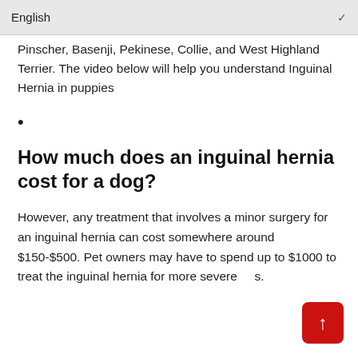English
Pinscher, Basenji, Pekinese, Collie, and West Highland Terrier. The video below will help you understand Inguinal Hernia in puppies
•
How much does an inguinal hernia cost for a dog?
However, any treatment that involves a minor surgery for an inguinal hernia can cost somewhere around $150-$500. Pet owners may have to spend up to $1000 to treat the inguinal hernia for more severe cases.